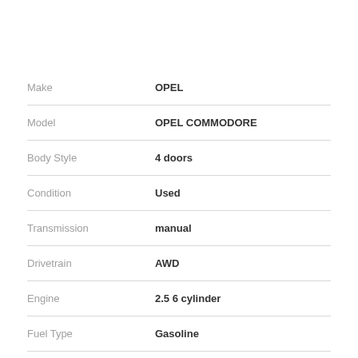| Attribute | Value |
| --- | --- |
| Make | OPEL |
| Model | OPEL COMMODORE |
| Body Style | 4 doors |
| Condition | Used |
| Transmission | manual |
| Drivetrain | AWD |
| Engine | 2.5 6 cylinder |
| Fuel Type | Gasoline |